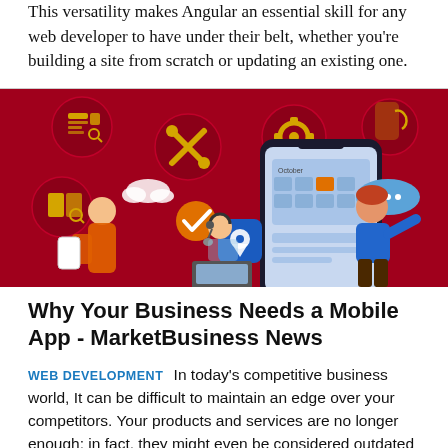This versatility makes Angular an essential skill for any web developer to have under their belt, whether you're building a site from scratch or updating an existing one.
[Figure (illustration): Red background illustration showing a mobile app development scene with people, a smartphone, and floating icons representing web/app development tools such as documents, settings, calendar, location pin, and messaging.]
Why Your Business Needs a Mobile App - MarketBusiness News
WEB DEVELOPMENT   In today's competitive business world, It can be difficult to maintain an edge over your competitors. Your products and services are no longer enough; in fact, they might even be considered outdated if they aren't